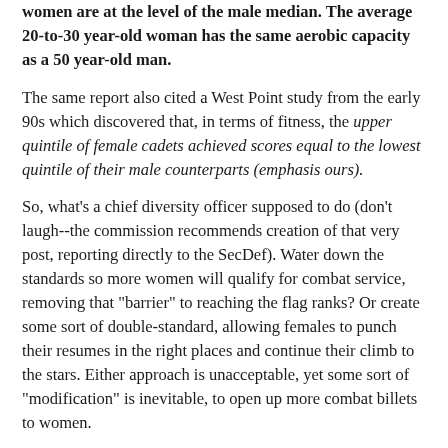women are at the level of the male median. The average 20-to-30 year-old woman has the same aerobic capacity as a 50 year-old man.
The same report also cited a West Point study from the early 90s which discovered that, in terms of fitness, the upper quintile of female cadets achieved scores equal to the lowest quintile of their male counterparts (emphasis ours).
So, what's a chief diversity officer supposed to do (don't laugh--the commission recommends creation of that very post, reporting directly to the SecDef). Water down the standards so more women will qualify for combat service, removing that "barrier" to reaching the flag ranks? Or create some sort of double-standard, allowing females to punch their resumes in the right places and continue their climb to the stars. Either approach is unacceptable, yet some sort of "modification" is inevitable, to open up more combat billets to women.
As for minorities, their under-representation in the ranks of generals and admirals reflects another set of problems. For starters, there's our failing education system which impacts